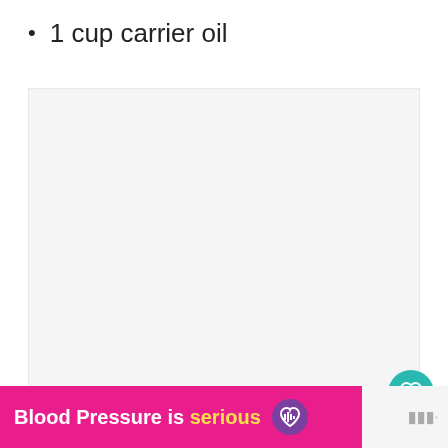1 cup carrier oil
[Figure (photo): Large light gray placeholder image area for a recipe or instructional photo]
[Figure (infographic): UI overlay elements: teal heart/favorite button, white share button with share icon, and a 'What's Next' card showing 'Sinus Bath Salts for...' with a thumbnail of bath salts]
[Figure (infographic): Advertisement banner with hot pink background reading 'Blood Pressure is serious' with a purple heart logo icon, and a gray brand logo watermark on the right]